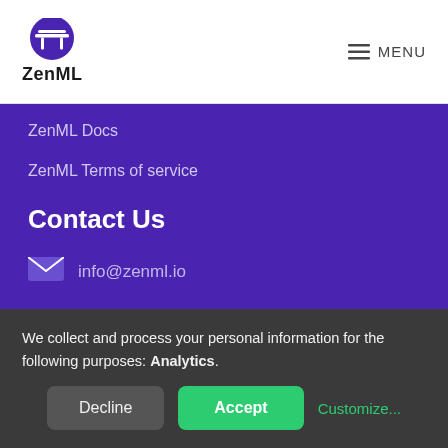[Figure (logo): ZenML logo: purple circle with white torii gate icon above the text 'ZenML' in bold dark font]
MENU
ZenML Docs
ZenML Terms of service
Contact Us
info@zenml.io
We collect and process your personal information for the following purposes: Analytics.